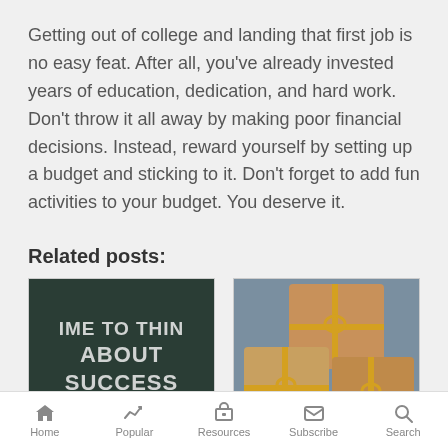Getting out of college and landing that first job is no easy feat. After all, you've already invested years of education, dedication, and hard work. Don't throw it all away by making poor financial decisions. Instead, reward yourself by setting up a budget and sticking to it. Don't forget to add fun activities to your budget. You deserve it.
Related posts:
[Figure (photo): Chalkboard with white chalk text reading 'TIME TO THINK ABOUT SUCCESS']
[Figure (photo): Three brown paper packages wrapped with yellow ribbon/string, on a blue surface]
Home | Popular | Resources | Subscribe | Search